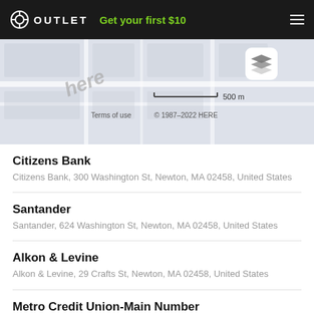OUTLET  Get your first $10
[Figure (map): HERE maps tile showing Newton, MA area with scale bar (500 m) and layer toggle button. Shows 'here' watermark, Terms of use, © 1987–2022 HERE.]
Citizens Bank
Citizens Bank, 300 Washington St, Newton, MA 02458, United States
Santander
Santander, 624 Washington St, Newton, MA 02458, United States
Alkon & Levine
Alkon & Levine, 29 Crafts St, Newton, MA 02458, United States
Metro Credit Union-Main Number
Metro Credit Union-Main Number, 334 Watertown St, Newton, MA 02458, United States